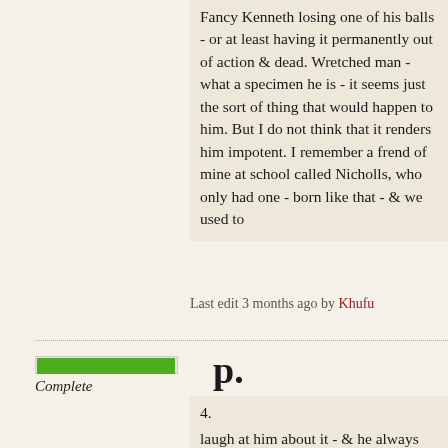Fancy Kenneth losing one of his balls - or at least having it permanently out of action & dead. Wretched man - what a specimen he is - it seems just the sort of thing that would happen to him. But I do not think that it renders him impotent. I remember a frend of mine at school called Nicholls, who only had one - born like that - & we used to
Last edit 3 months ago by Khufu
p.
Complete
4.
laugh at him about it - & he always indignantly said he was alright which made us laugh more, as it showed that he indulged in this "m